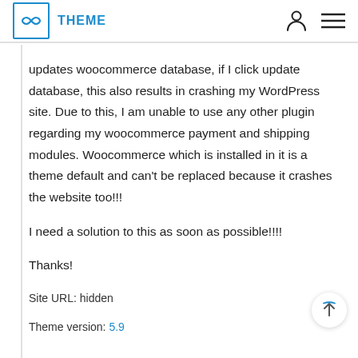THEME
updates woocommerce database, if I click update database, this also results in crashing my WordPress site. Due to this, I am unable to use any other plugin regarding my woocommerce payment and shipping modules. Woocommerce which is installed in it is a theme default and can't be replaced because it crashes the website too!!!
I need a solution to this as soon as possible!!!!
Thanks!
Site URL: hidden
Theme version: 5.9